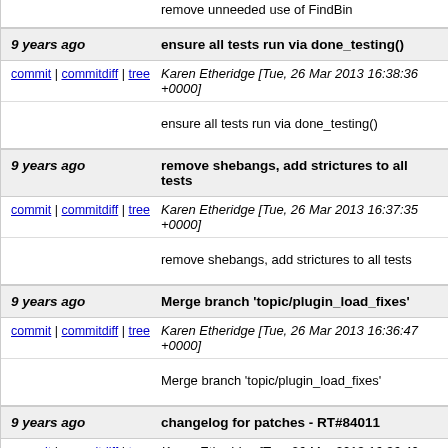remove unneeded use of FindBin
9 years ago | ensure all tests run via done_testing()
commit | commitdiff | tree  Karen Etheridge [Tue, 26 Mar 2013 16:38:36 +0000]
ensure all tests run via done_testing()
9 years ago | remove shebangs, add strictures to all tests
commit | commitdiff | tree  Karen Etheridge [Tue, 26 Mar 2013 16:37:35 +0000]
remove shebangs, add strictures to all tests
9 years ago | Merge branch 'topic/plugin_load_fixes'
commit | commitdiff | tree  Karen Etheridge [Tue, 26 Mar 2013 16:36:47 +0000]
Merge branch 'topic/plugin_load_fixes'
9 years ago | changelog for patches - RT#84011
commit | commitdiff | tree  Karen Etheridge [Tue, 26 Mar 2013 16:36:40 +0000]